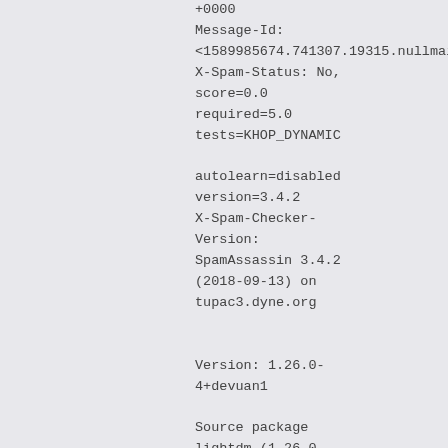+0000
Message-Id:
<1589985674.741307.19315.nullmailer
X-Spam-Status: No,
score=0.0
required=5.0
tests=KHOP_DYNAMIC

autolearn=disabled
version=3.4.2
X-Spam-Checker-
Version:
SpamAssassin 3.4.2
(2018-09-13) on
tupac3.dyne.org


Version: 1.26.0-
4+devuan1

Source package
lightdm (1.26.0-
4+devuan1) added
to Devuan suite
beowulf.

This closes bug
report 438.

Thanks